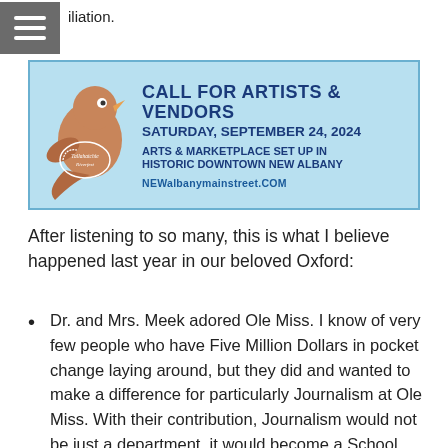iliation.
[Figure (illustration): Advertisement banner for Tallahatchie Riverfest. Call for Artists & Vendors. Saturday, September 24, 2024. Arts & Marketplace Set Up in Historic Downtown New Albany. NEWalbanymainstreet.COM. Features a bird mascot logo on the left.]
After listening to so many, this is what I believe happened last year in our beloved Oxford:
Dr. and Mrs. Meek adored Ole Miss. I know of very few people who have Five Million Dollars in pocket change laying around, but they did and wanted to make a difference for particularly Journalism at Ole Miss. With their contribution, Journalism would not be just a department, it would become a School. They also had a sincere love and care for